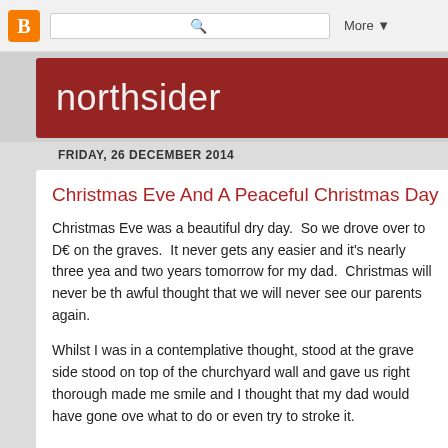[Figure (screenshot): Blogger navigation bar with orange Blogger icon, search box, and More dropdown]
northsider
FRIDAY, 26 DECEMBER 2014
Christmas Eve And A Peaceful Christmas Day On T
Christmas Eve was a beautiful dry day.  So we drove over to D€ on the graves.  It never gets any easier and it's nearly three yea and two years tomorrow for my dad.  Christmas will never be th awful thought that we will never see our parents again.
Whilst I was in a contemplative thought, stood at the grave side stood on top of the churchyard wall and gave us right thorough made me smile and I thought that my dad would have gone ove what to do or even try to stroke it.